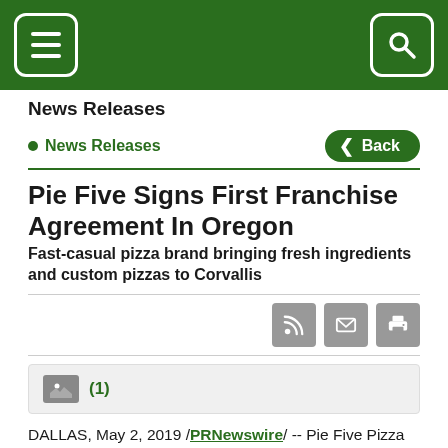Navigation header with menu and search icons
News Releases
News Releases
Pie Five Signs First Franchise Agreement In Oregon
Fast-casual pizza brand bringing fresh ingredients and custom pizzas to Corvallis
[Figure (other): Icon buttons: RSS feed, email, print]
[Figure (other): Image thumbnail bar with (1) image indicator]
DALLAS, May 2, 2019 /PRNewswire/ -- Pie Five Pizza today announced that the fast-casual pizza chain has signed a restaurant deal in Corvallis, Oregon. This will b...